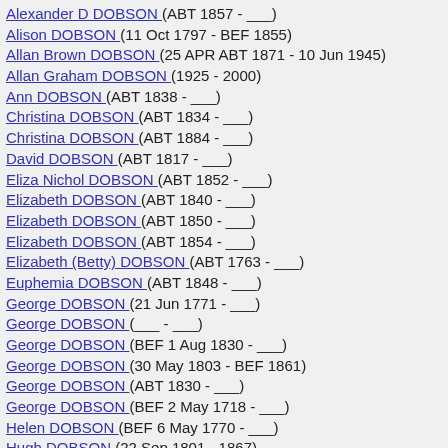Alexander D DOBSON (ABT 1857 - ___)
Alison DOBSON (11 Oct 1797 - BEF 1855)
Allan Brown DOBSON (25 APR ABT 1871 - 10 Jun 1945)
Allan Graham DOBSON (1925 - 2000)
Ann DOBSON (ABT 1838 - ___)
Christina DOBSON (ABT 1834 - ___)
Christina DOBSON (ABT 1884 - ___)
David DOBSON (ABT 1817 - ___)
Eliza Nichol DOBSON (ABT 1852 - ___)
Elizabeth DOBSON (ABT 1840 - ___)
Elizabeth DOBSON (ABT 1850 - ___)
Elizabeth DOBSON (ABT 1854 - ___)
Elizabeth (Betty) DOBSON (ABT 1763 - ___)
Euphemia DOBSON (ABT 1848 - ___)
George DOBSON (21 Jun 1771 - ___)
George DOBSON (___ - ___)
George DOBSON (BEF 1 Aug 1830 - ___)
George DOBSON (30 May 1803 - BEF 1861)
George DOBSON (ABT 1830 - ___)
George DOBSON (BEF 2 May 1718 - ___)
Helen DOBSON (BEF 6 May 1770 - ___)
Hugh DOBSON (22 Sep 1801 - 1867)
Hugh DOBSON (ABT 1829 - 1911)
Hugh DOBSON (ABT 1839 - 1881)
Hugh DOBSON (ABT 1862 - ___)